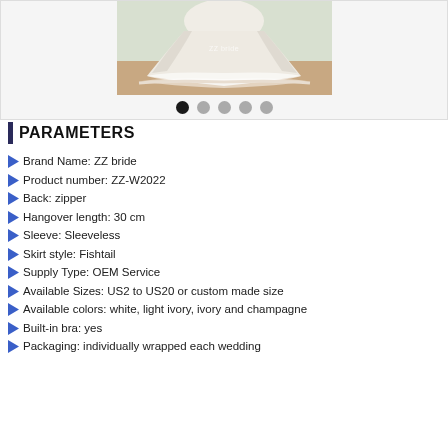[Figure (photo): Wedding dress photo showing a white fishtail/mermaid style dress with layered tulle and lace hem. Watermark reads ZZ bride. Image carousel with 5 navigation dots shown below.]
PARAMETERS
Brand Name: ZZ bride
Product number: ZZ-W2022
Back: zipper
Hangover length: 30 cm
Sleeve: Sleeveless
Skirt style: Fishtail
Supply Type: OEM Service
Available Sizes: US2 to US20 or custom made size
Available colors: white, light ivory, ivory and champagne
Built-in bra: yes
Packaging: individually wrapped each wedding